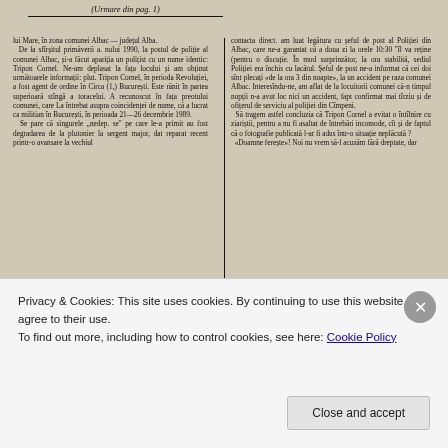(Urmare din pag. 1)
lui Mare, în zona comunei Albac — județul Alba.
  De la sfârșitul primăverii a. nului 1990, la postul de poliție al comunei Albac, și-a făcut apariția un polițist cu un nume identic: Tripon Cornel. Ne-am deplasat la fața locului și am obținut următoarele informații: plut. Tripon Cornel, în perioada Revoluției, a fost agent de ordine în Circa (1,) București. Este rănit în partea superioară stîngă a toracelui. A recunoscut în fața preotului comunei, care La întrebat asupra coincidenței de nume, că a lucrat ca militar în București, în perioada 21—26 decembrie 1989.
  Se pare că singurele "nedep. se" pe care le-a primit au fost degradarea de la plutonier la sergent major, dat reparat recent printr-o avansare la vechiul
contacta direct. am luat legătura cu șeful de post al Poliției din Albac, care ne-a garantat că a doua zi la orele 10:30 "îl va ține (pentru o discuție. În mod surprinzător, la ora stabilită, sediul Poliției era închis cu lacătul. Șeful de post ne-a informat că cei doi sînt plecați «de la ora 3 din noapte», la un accident pe raza comunei Albac. Interesîndu-ne, am aflat de la locuitorii comunei că-n timpul nopții n-a avut loc nici un accident, fapt confirmat mai tîrziu și de ofițerul de serviciu al poliției din Cîmpeni.
  Să tragem astfel concluzia că Tripon Cornel a evitat o întîlnire cu ziariștii, pentru a nu fi asaltat de întrebări incomode, și stăt de faptul că o fotografie publicată l-ar fi adus într-o situație neplăcută ?
  «Doamne ferește»! Noi nu vrem să-l acuzăm fără dreptate, dar
Privacy & Cookies: This site uses cookies. By continuing to use this website, you agree to their use.
To find out more, including how to control cookies, see here: Cookie Policy